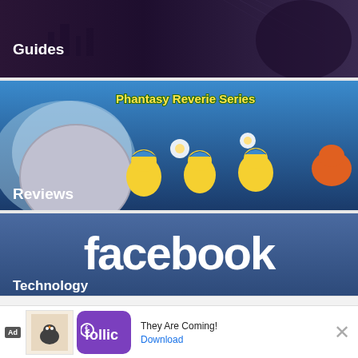[Figure (screenshot): Gaming website card with 'Guides' label on dark purple/maroon superhero-themed background]
[Figure (screenshot): Gaming website card with 'Phantasy Reverie Series' banner text and colorful cartoon characters, labeled 'Reviews']
[Figure (screenshot): Facebook logo on blue gradient background with 'Technology' label]
Related Stories
The Elder Scrolls V: Skyrim Anniversary Edition Is Coming
[Figure (screenshot): Mobile advertisement banner: Ad label, Rollic app icon, 'They Are Coming!' text, Download link, close button]